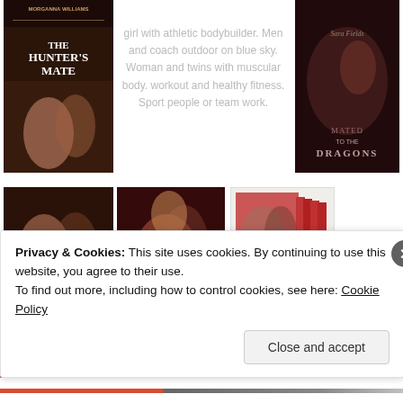[Figure (photo): Book cover: The Hunter's Mate by Morganna Williams - dark romantic cover with couple]
girl with athletic bodybuilder. Men and coach outdoor on blue sky. Woman and twins with muscular body. workout and healthy fitness. Sport people or team work.
[Figure (photo): Book cover: Mated to the Dragons by Sara Fields - dark romantic cover]
[Figure (photo): Book cover: An Unexpected ... - romantic couple cover]
[Figure (photo): Romantic couple cover - red-haired woman with man]
[Figure (photo): Box set cover with couple and stacked books - Hunters collection]
Privacy & Cookies: This site uses cookies. By continuing to use this website, you agree to their use.
To find out more, including how to control cookies, see here: Cookie Policy
Close and accept